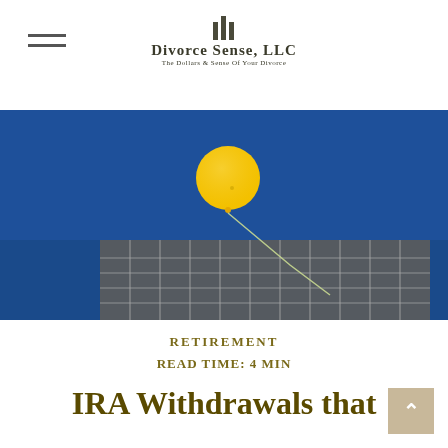Divorce Sense, LLC — The Dollars & Sense Of Your Divorce
[Figure (photo): A yellow balloon floating up from the top of a building, viewed from below against a blue sky. The building facade shows a grid of windows.]
RETIREMENT
READ TIME: 4 MIN
IRA Withdrawals that